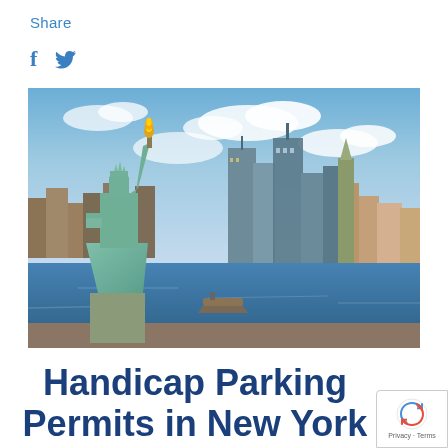Share
[Figure (infographic): Social media share icons: Facebook (f) and Twitter (bird icon) in blue]
[Figure (photo): Photograph of the Statue of Liberty in the foreground with the New York City skyline and waterfront in the background under a partly cloudy blue sky]
Handicap Parking Permits in New York